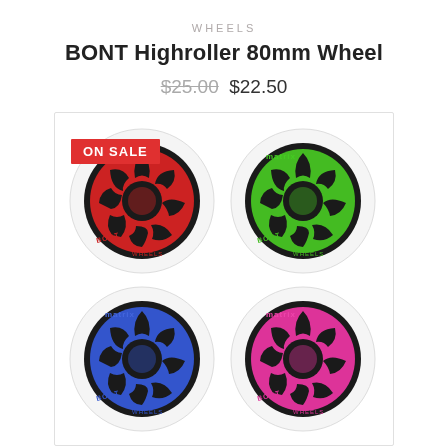WHEELS
BONT Highroller 80mm Wheel
$25.00 $22.50
[Figure (photo): Four BONT Highroller 80mm inline skate wheels arranged in a 2x2 grid on a white background with a light gray border. Top-left wheel has a red hub with an 'ON SALE' red badge, top-right has a green hub, bottom-left has a blue hub, bottom-right has a pink/magenta hub. All wheels have white urethane and black inner ring with 'matrix' text branding.]